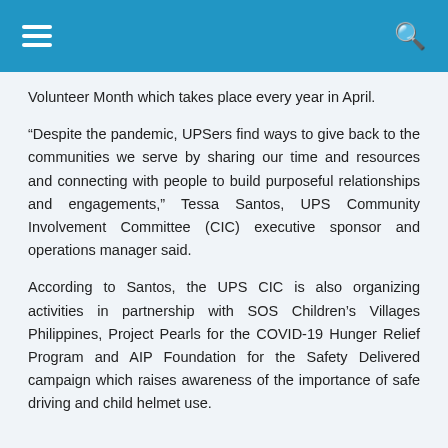Volunteer Month which takes place every year in April.
“Despite the pandemic, UPSers find ways to give back to the communities we serve by sharing our time and resources and connecting with people to build purposeful relationships and engagements,” Tessa Santos, UPS Community Involvement Committee (CIC) executive sponsor and operations manager said.
According to Santos, the UPS CIC is also organizing activities in partnership with SOS Children’s Villages Philippines, Project Pearls for the COVID-19 Hunger Relief Program and AIP Foundation for the Safety Delivered campaign which raises awareness of the importance of safe driving and child helmet use.